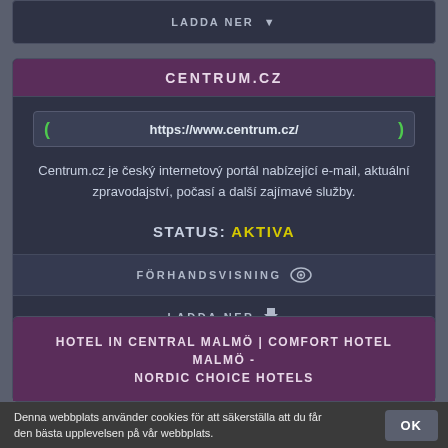LADDA NER ↓
CENTRUM.CZ
https://www.centrum.cz/
Centrum.cz je český internetový portál nabízející e-mail, aktuální zpravodajství, počasí a další zajímavé služby.
STATUS: AKTIVA
FÖRHANDSVISNING 👁
LADDA NER ↓
HOTEL IN CENTRAL MALMÖ | COMFORT HOTEL MALMÖ - NORDIC CHOICE HOTELS
Denna webbplats använder cookies för att säkerställa att du får den bästa upplevelsen på vår webbplats.
OK